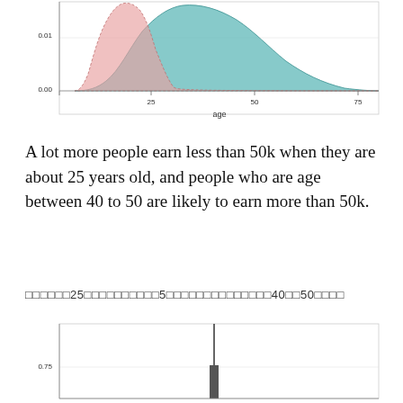[Figure (continuous-plot): Density plot showing age distribution for two income groups (<=50k in pink/red, >50k in teal). The teal distribution peaks around age 40-50 and the pink distribution peaks around age 25. X-axis labeled 'age' with ticks at 25, 50, 75. Y-axis shows values 0.00 and 0.01.]
A lot more people earn less than 50k when they are about 25 years old, and people who are age between 40 to 50 are likely to earn more than 50k.
たくさんの人が25歳の頃に5万円以下の収入を得ており、40歳から50歳の間の人々は5万円以上を稼ぐ可能性が高い。
[Figure (continuous-plot): A bar or spike chart showing a very tall narrow spike at approximately age 25-30, with y-axis value 0.75 visible. The chart appears partially cut off at the bottom.]